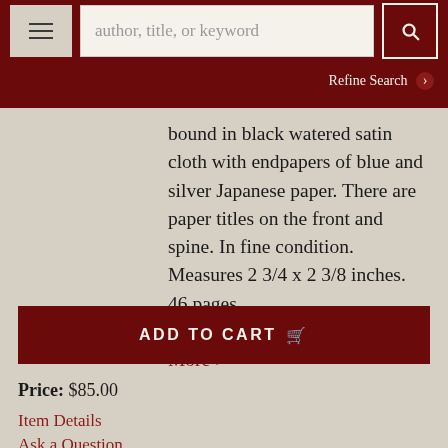author, title, or keyword | Refine Search
bound in black watered satin cloth with endpapers of blue and silver Japanese paper. There are paper titles on the front and spine. In fine condition. Measures 2 3/4 x 2 3/8 inches. 46 pages. ARTISTSBOOK/021518. Fine. More
ADD TO CART
Price: $85.00
Item Details
Ask a Question
Item #31760